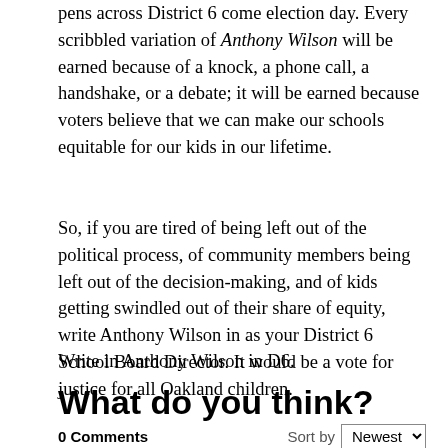pens across District 6 come election day. Every scribbled variation of Anthony Wilson will be earned because of a knock, a phone call, a handshake, or a debate; it will be earned because voters believe that we can make our schools equitable for our kids in our lifetime.
So, if you are tired of being left out of the political process, of community members being left out of the decision-making, and of kids getting swindled out of their share of equity, write Anthony Wilson in as your District 6 School Board Director. It would be a vote for justice for all Oakland children.
Write in Anthony Wilson in D6.
What do you think?
0 Comments   Sort by Newest